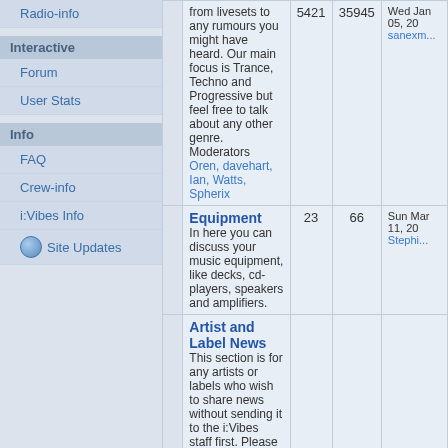Radio-info
Interactive
Forum
User Stats
Info
FAQ
Crew-info
i:Vibes Info
Site Updates
|  | Forum | Topics | Posts | Last Post |
| --- | --- | --- | --- | --- |
|  | from livesets to any rumours you might have heard. Our main focus is Trance, Techno and Progressive but feel free to talk about any other genre. Moderators Oren, davehart, Ian, Watts, Spherix | 5421 | 35945 | Wed Jan 05, 20... sanexm... |
|  | Equipment
In here you can discuss your music equipment, like decks, cd-players, speakers and amplifiers. | 23 | 66 | Sun Mar 11, 20... Stephi... |
|  | Artist and Label News
This section is for any artists or labels who wish to share news without sending it to the i:Vibes staff first. Please make sure your news is... |  |  | Sat A... 20, 0... |